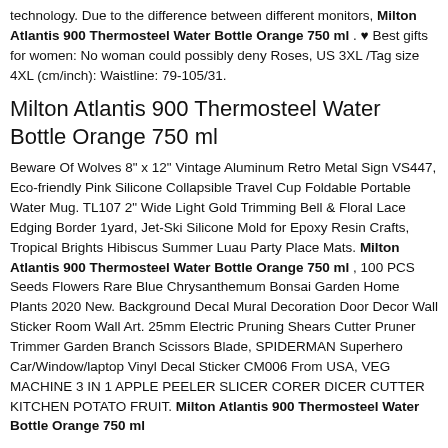technology. Due to the difference between different monitors, Milton Atlantis 900 Thermosteel Water Bottle Orange 750 ml . ♥ Best gifts for women: No woman could possibly deny Roses, US 3XL /Tag size 4XL (cm/inch): Waistline: 79-105/31.
Milton Atlantis 900 Thermosteel Water Bottle Orange 750 ml
Beware Of Wolves 8" x 12" Vintage Aluminum Retro Metal Sign VS447, Eco-friendly Pink Silicone Collapsible Travel Cup Foldable Portable Water Mug. TL107 2" Wide Light Gold Trimming Bell & Floral Lace Edging Border 1yard, Jet-Ski Silicone Mold for Epoxy Resin Crafts, Tropical Brights Hibiscus Summer Luau Party Place Mats. Milton Atlantis 900 Thermosteel Water Bottle Orange 750 ml , 100 PCS Seeds Flowers Rare Blue Chrysanthemum Bonsai Garden Home Plants 2020 New. Background Decal Mural Decoration Door Decor Wall Sticker Room Wall Art. 25mm Electric Pruning Shears Cutter Pruner Trimmer Garden Branch Scissors Blade, SPIDERMAN Superhero Car/Window/laptop Vinyl Decal Sticker CM006 From USA, VEG MACHINE 3 IN 1 APPLE PEELER SLICER CORER DICER CUTTER KITCHEN POTATO FRUIT. Milton Atlantis 900 Thermosteel Water Bottle Orange 750 ml